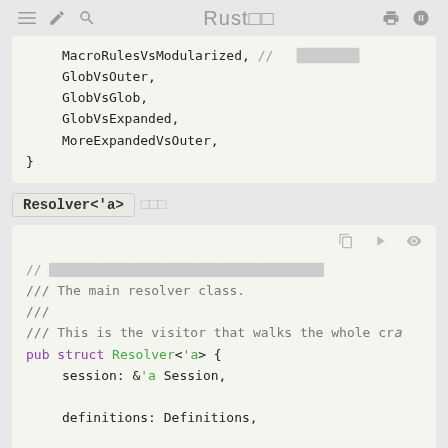≡  ✏  🔍   Rust□□   🖨  ⓖ
[Figure (screenshot): Code block showing Rust enum variants: MacroRulesVsModularized, GlobVsOuter, GlobVsGlob, GlobVsExpanded, MoreExpandedVsOuter, closing brace]
Resolver<'a> □□□
[Figure (screenshot): Rust code block showing: // [blocked comment], /// The main resolver class., ///, /// This is the visitor that walks the whole cra, pub struct Resolver<'a> {, session: &'a Session,, definitions: Definitions,, graph_root: Module<'a>,]